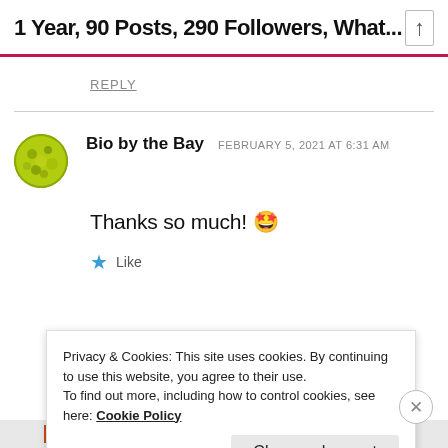1 Year, 90 Posts, 290 Followers, What...
REPLY
Bio by the Bay   FEBRUARY 5, 2021 AT 6:31 AM
Thanks so much! 🤩
★ Like
Privacy & Cookies: This site uses cookies. By continuing to use this website, you agree to their use.
To find out more, including how to control cookies, see here: Cookie Policy
Close and accept